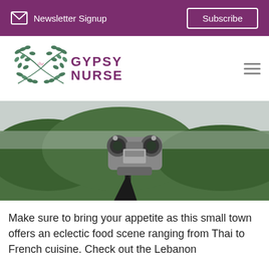Newsletter Signup  Subscribe
[Figure (logo): The Gypsy Nurse logo with laurel wreath and text]
[Figure (photo): A coin-operated binocular viewer on a stand, with a misty green forested mountainside in the background]
Make sure to bring your appetite as this small town offers an eclectic food scene ranging from Thai to French cuisine. Check out the Lebanon